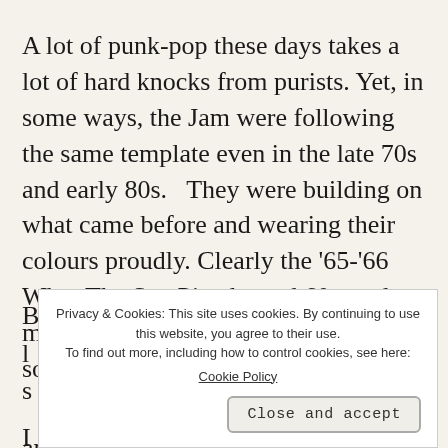A lot of punk-pop these days takes a lot of hard knocks from purists. Yet, in some ways, the Jam were following the same template even in the late 70s and early 80s.   They were building on what came before and wearing their colours proudly. Clearly the ‘65-‘66 Who, The Sex Pistols, and 60s soul music are major contributors to their sound.
B
l
s
[Figure (screenshot): Cookie consent banner overlay with text: 'Privacy & Cookies: This site uses cookies. By continuing to use this website, you agree to their use. To find out more, including how to control cookies, see here: Cookie Policy' and a 'Close and accept' button.]
I
and beginning to think about how to draw his